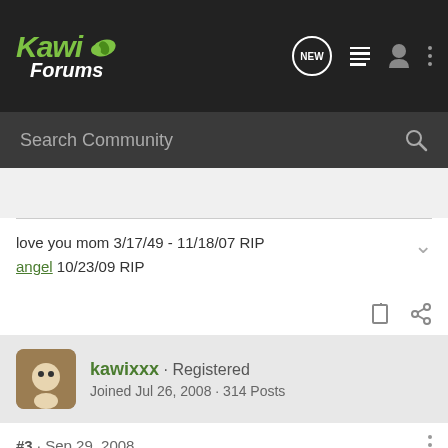[Figure (logo): Kawi Forums logo with green leaf icon on dark background header bar with navigation icons]
Search Community
love you mom 3/17/49 - 11/18/07 RIP
angel 10/23/09 RIP
kawixxx · Registered
Joined Jul 26, 2008 · 314 Posts
#3 · Sep 29, 2008
hi and welcome